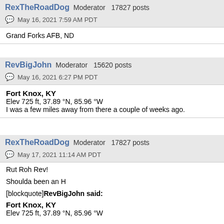RexTheRoadDog Moderator 17827 posts
May 16, 2021 7:59 AM PDT
Grand Forks AFB, ND
RevBigJohn Moderator 15620 posts
May 16, 2021 6:27 PM PDT
Fort Knox, KY
Elev 725 ft, 37.89 °N, 85.96 °W
I was a few miles away from there a couple of weeks ago.
RexTheRoadDog Moderator 17827 posts
May 17, 2021 11:14 AM PDT
Rut Roh Rev!

Shouda been an H

[blockquote]RevBigJohn said:

Fort Knox, KY
Elev 725 ft, 37.89 °N, 85.96 °W